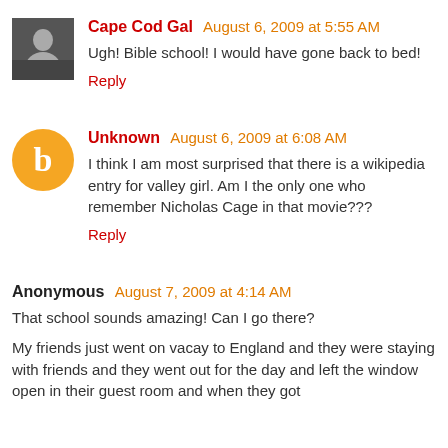Cape Cod Gal  August 6, 2009 at 5:55 AM
Ugh! Bible school! I would have gone back to bed!
Reply
Unknown  August 6, 2009 at 6:08 AM
I think I am most surprised that there is a wikipedia entry for valley girl. Am I the only one who remember Nicholas Cage in that movie???
Reply
Anonymous  August 7, 2009 at 4:14 AM
That school sounds amazing! Can I go there?
My friends just went on vacay to England and they were staying with friends and they went out for the day and left the window open in their guest room and when they got